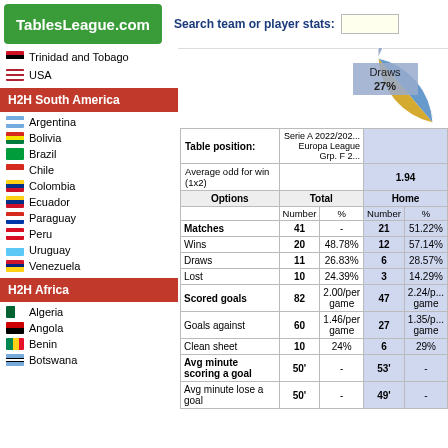TablesLeague.com | Search team or player stats:
Trinidad and Tobago
USA
H2H South America
Argentina
Bolivia
Brazil
Chile
Colombia
Ecuador
Paraguay
Peru
Uruguay
Venezuela
H2H Africa
Algeria
Angola
Benin
Botswana
[Figure (pie-chart): Draws 27%]
| Options | Total Number | Total % | Home Number | Home % |
| --- | --- | --- | --- | --- |
| Table position: |  | Serie A 2022/202... | Europa League Grp. F 2... |  |
| Average odd for win (1x2) |  |  | 1.94 |  |
|  | Number | % | Number | % |
| Matches | 41 | - | 21 | 51.22% |
| Wins | 20 | 48.78% | 12 | 57.14% |
| Draws | 11 | 26.83% | 6 | 28.57% |
| Lost | 10 | 24.39% | 3 | 14.29% |
| Scored goals | 82 | 2.00/per game | 47 | 2.24/per game |
| Goals against | 60 | 1.46/per game | 27 | 1.35/per game |
| Clean sheet | 10 | 24% | 6 | 29% |
| Avg minute scoring a goal | 50' | - | 53' | - |
| Avg minute lose a goal | 50' | - | 49' | - |